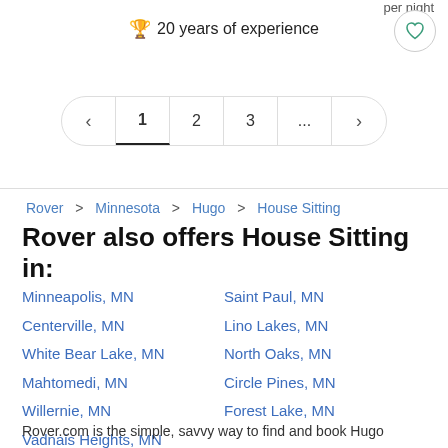per night
🏆 20 years of experience
[Figure (other): Heart/favorite button icon in circle]
[Figure (other): Pagination control: < 1 2 3 ... >]
Rover > Minnesota > Hugo > House Sitting
Rover also offers House Sitting in:
Minneapolis, MN
Saint Paul, MN
Centerville, MN
Lino Lakes, MN
White Bear Lake, MN
North Oaks, MN
Mahtomedi, MN
Circle Pines, MN
Willernie, MN
Forest Lake, MN
Vadnais Heights, MN
Rover.com is the simple, savvy way to find and book Hugo